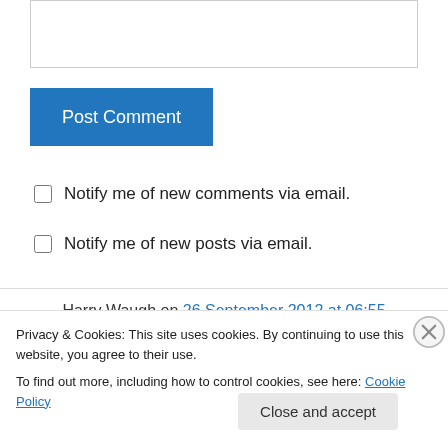[Figure (other): Text input box (comment form field, partially visible at top)]
Post Comment
Notify me of new comments via email.
Notify me of new posts via email.
Harry Waugh on 26 September 2012 at 06:55
Stage 2
Privacy & Cookies: This site uses cookies. By continuing to use this website, you agree to their use.
To find out more, including how to control cookies, see here: Cookie Policy
Close and accept